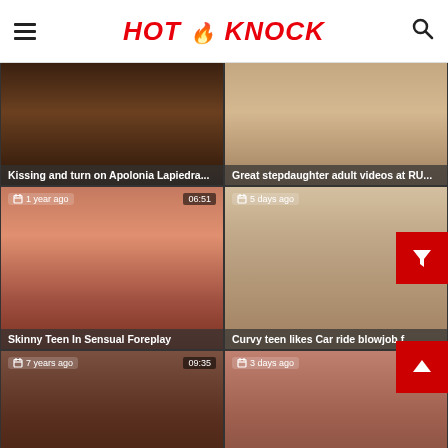HOT KNOCK
[Figure (screenshot): Video thumbnail grid card: Kissing and turn on Apolonia Lapiedra...]
Kissing and turn on Apolonia Lapiedra...
[Figure (screenshot): Video thumbnail grid card: Great stepdaughter adult videos at RU...]
Great stepdaughter adult videos at RU...
[Figure (screenshot): Video thumbnail: Skinny Teen In Sensual Foreplay, 1 year ago, 06:51]
Skinny Teen In Sensual Foreplay
[Figure (screenshot): Video thumbnail: Curvy teen likes Car ride blowjob f..., 5 days ago]
Curvy teen likes Car ride blowjob f...
[Figure (screenshot): Video thumbnail: After foreplay brunette rode dick on c..., 7 years ago, 09:35]
After foreplay brunette rode dick on c...
[Figure (screenshot): Video thumbnail: Lesbian girfriends oral sex in bed, 3 days ago]
Lesbian girfriends oral sex in bed
[Figure (screenshot): Video thumbnail partial row bottom left]
[Figure (screenshot): Video thumbnail partial row bottom right]